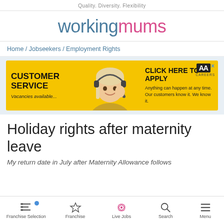Quality. Diversity. Flexibility
workingmums
Home / Jobseekers / Employment Rights
[Figure (infographic): AA Careers advertisement banner with yellow background showing a woman with headset, text 'CUSTOMER SERVICE - Vacancies available...' on left and 'CLICK HERE TO APPLY - Anything can happen at any time. Our customers know it. We know it.' on right]
Holiday rights after maternity leave
My return date in July after Maternity Allowance follows
Franchise Selection | Franchise | Live Jobs | Search | Menu